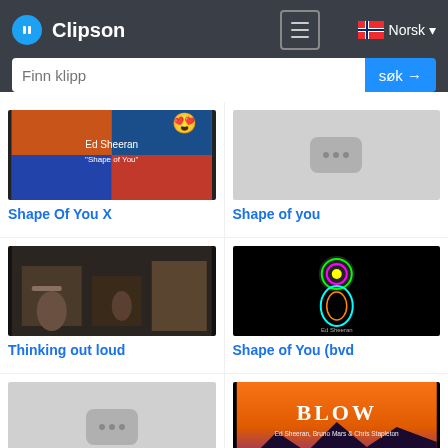[Figure (screenshot): Clipson web app header with logo, menu button, Norsk language selector, and search bar with 'Finn klipp' placeholder and 'søk →' button]
[Figure (screenshot): Video thumbnail for 'Shape Of You X' - Ed Sheeran collage with emoji]
Shape Of You X
[Figure (screenshot): Placeholder thumbnail for 'Shape of you']
Shape of you
[Figure (screenshot): Video thumbnail for 'Thinking out loud' - acoustic band in dim setting]
Thinking out loud
[Figure (screenshot): Video thumbnail for 'Shape of You (bvd)' - colorful neon figure on black background]
Shape of You (bvd
[Figure (screenshot): Placeholder thumbnail (bottom left)]
[Figure (screenshot): Video thumbnail for 'Blow' - Ed Sheeran, Bruno Mars & Chris Stapleton text on sunset background]